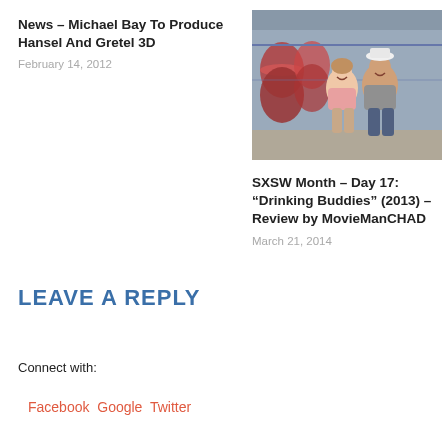News – Michael Bay To Produce Hansel And Gretel 3D
February 14, 2012
[Figure (photo): A man and woman sitting on a warehouse floor with beer kegs in the background, smiling at each other. The woman wears a pink top and the man wears a grey t-shirt and white cap.]
SXSW Month – Day 17: “Drinking Buddies” (2013) – Review by MovieManCHAD
March 21, 2014
LEAVE A REPLY
Connect with:
Facebook Google Twitter